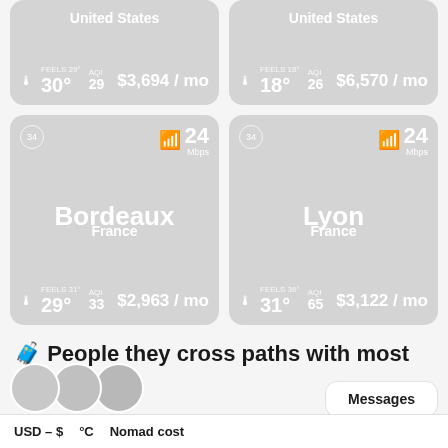[Figure (infographic): City card for United States (top-left, partially cut off) showing 30°C temperature, AQI 29, $3,694/mo cost]
[Figure (infographic): City card for United States (top-right, partially cut off) showing 18°C temperature, AQI 26, $6,570/mo cost]
[Figure (infographic): City card for Bordeaux, France showing 24 Mbps wifi, 29°C temperature, AQI 33, $2,963/mo cost]
[Figure (infographic): City card for Lyon, France showing 24 Mbps wifi, 31°C temperature, AQI 65, $3,122/mo cost]
🧳 People they cross paths with most
Messages
USD – $   °C   Nomad cost